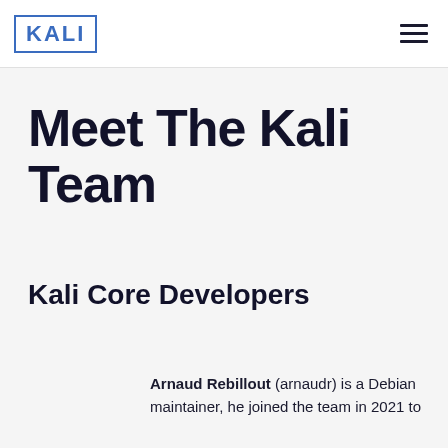KALI
Meet The Kali Team
Kali Core Developers
Arnaud Rebillout (arnaudr) is a Debian maintainer, he joined the team in 2021 to